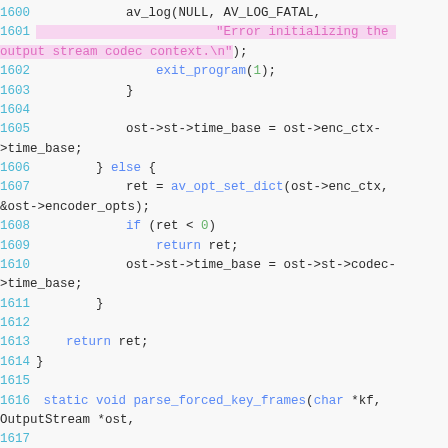[Figure (screenshot): Source code snippet in a code viewer showing C lines 1600-1618, with syntax highlighting. Lines include av_log, exit_program, ost->st->time_base assignments, av_opt_set_dict call, return statements, closing braces, and a new function declaration parse_forced_key_frames.]